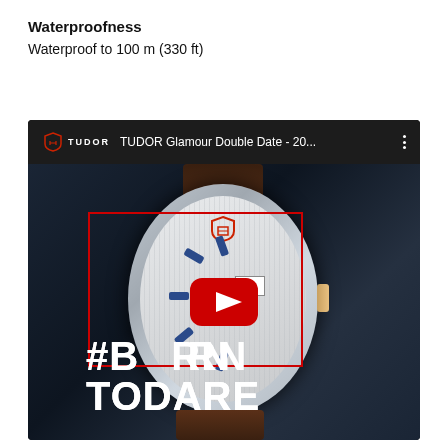Waterproofness
Waterproof to 100 m (330 ft)
[Figure (screenshot): YouTube video thumbnail for TUDOR Glamour Double Date, showing a Tudor watch with white dial and leather strap. Text overlay reads '#BORN TODARE' with a YouTube play button. The video bar shows the Tudor logo and title 'TUDOR Glamour Double Date - 20...']